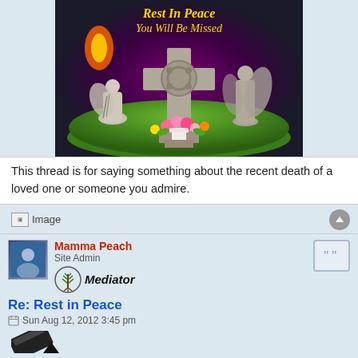[Figure (illustration): Cemetery scene with a Celtic cross gravestone, two angel statues (one kneeling with a harp, one standing), colorful flowers in a white vase, and a dark background with text reading 'Rest in Peace You Will Be Missed'. The image has an oval shape at the bottom with green grass.]
This thread is for saying something about the recent death of a loved one or someone you admire.
[Figure (illustration): Broken image placeholder labeled 'Image']
Mamma Peach
Site Admin
[Figure (logo): Mediator badge with a tree-of-life icon and italic bold text 'Mediator']
Re: Rest in Peace
Sun Aug 12, 2012 3:45 pm
[Figure (illustration): Partial view of a dark pen or similar object at the bottom of the page]